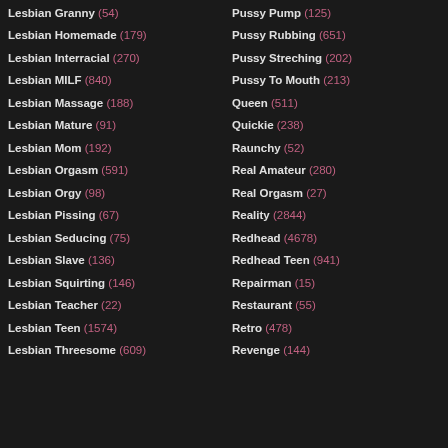Lesbian Granny (54)
Lesbian Homemade (179)
Lesbian Interracial (270)
Lesbian MILF (840)
Lesbian Massage (188)
Lesbian Mature (91)
Lesbian Mom (192)
Lesbian Orgasm (591)
Lesbian Orgy (98)
Lesbian Pissing (67)
Lesbian Seducing (75)
Lesbian Slave (136)
Lesbian Squirting (146)
Lesbian Teacher (22)
Lesbian Teen (1574)
Lesbian Threesome (609)
Pussy Pump (125)
Pussy Rubbing (651)
Pussy Streching (202)
Pussy To Mouth (213)
Queen (511)
Quickie (238)
Raunchy (52)
Real Amateur (280)
Real Orgasm (27)
Reality (2844)
Redhead (4678)
Redhead Teen (941)
Repairman (15)
Restaurant (55)
Retro (478)
Revenge (144)